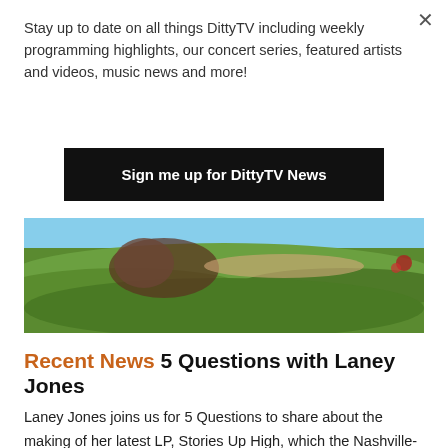Stay up to date on all things DittyTV including weekly programming highlights, our concert series, featured artists and videos, music news and more!
Sign me up for DittyTV News
[Figure (photo): A person lying on green grass, photographed from below at an angle, showing grass in the foreground and a blue sky in the background.]
Recent News 5 Questions with Laney Jones
Laney Jones joins us for 5 Questions to share about the making of her latest LP, Stories Up High, which the Nashville-based artist recorded with producer Andrija Tokic (Alabama Shakes, Hurray for the Riff Raff) at The